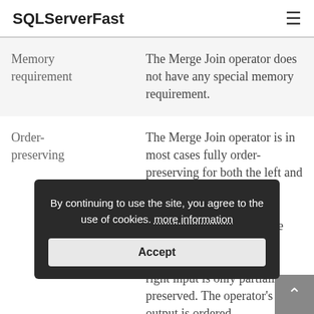SQLServerFast
| Memory requirement | The Merge Join operator does not have any special memory requirement. |
| Order-preserving | The Merge Join operator is in most cases fully order-preserving for both the left and the right input.

For a many to many Merge Join, the order of the left input is fully preserved; the order of the right input is only partially preserved. The operator's output is ordered |
By continuing to use the site, you agree to the use of cookies. more information